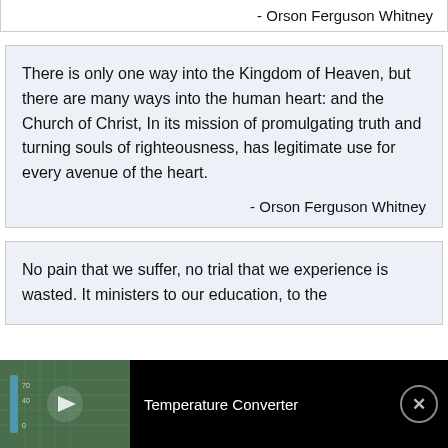- Orson Ferguson Whitney
There is only one way into the Kingdom of Heaven, but there are many ways into the human heart: and the Church of Christ, In its mission of promulgating truth and turning souls of righteousness, has legitimate use for every avenue of the heart.
- Orson Ferguson Whitney
No pain that we suffer, no trial that we experience is wasted. It ministers to our education, to the
[Figure (screenshot): Video ad bar at bottom showing a temperature converter ad with a thumbnail of a ruler/thermometer, play button, label 'Temperature Converter', and a close (X) button on a black background.]